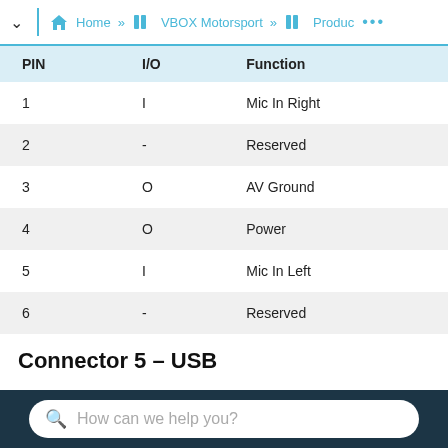Home » VBOX Motorsport » Produc ...
| PIN | I/O | Function |
| --- | --- | --- |
| 1 | I | Mic In Right |
| 2 | - | Reserved |
| 3 | O | AV Ground |
| 4 | O | Power |
| 5 | I | Mic In Left |
| 6 | - | Reserved |
Connector 5 – USB
How can we help you?